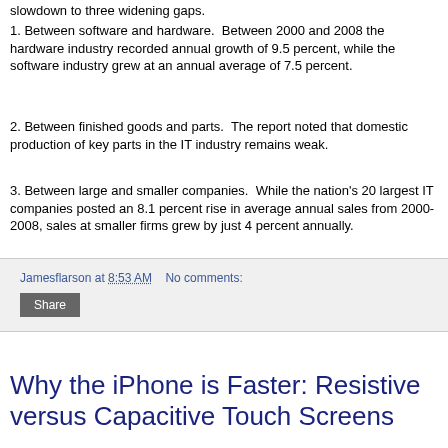slowdown to three widening gaps.
1. Between software and hardware.  Between 2000 and 2008 the hardware industry recorded annual growth of 9.5 percent, while the software industry grew at an annual average of 7.5 percent.
2. Between finished goods and parts.  The report noted that domestic production of key parts in the IT industry remains weak.
3. Between large and smaller companies.  While the nation's 20 largest IT companies posted an 8.1 percent rise in average annual sales from 2000-2008, sales at smaller firms grew by just 4 percent annually.
Jamesflarson at 8:53 AM   No comments:
Share
Why the iPhone is Faster: Resistive versus Capacitive Touch Screens